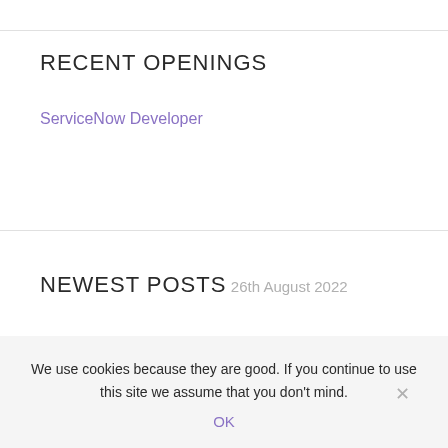RECENT OPENINGS
ServiceNow Developer
NEWEST POSTS
26th August 2022
We use cookies because they are good. If you continue to use this site we assume that you don't mind.
OK